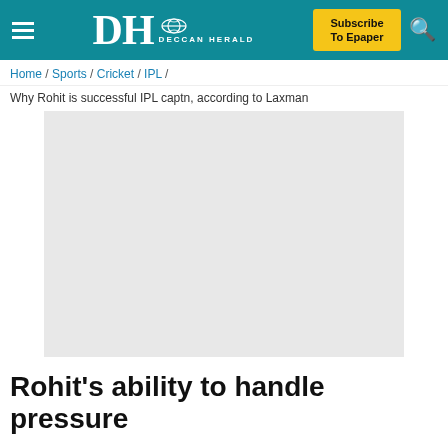DH DECCAN HERALD | Subscribe To Epaper
Home / Sports / Cricket / IPL /
Why Rohit is successful IPL captn, according to Laxman
[Figure (photo): Light gray placeholder image for an article photo]
Rohit's ability to handle pressure